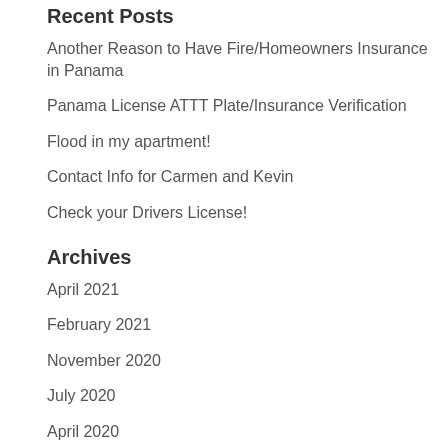Recent Posts
Another Reason to Have Fire/Homeowners Insurance in Panama
Panama License ATTT Plate/Insurance Verification
Flood in my apartment!
Contact Info for Carmen and Kevin
Check your Drivers License!
Archives
April 2021
February 2021
November 2020
July 2020
April 2020
March 2020
February 2020